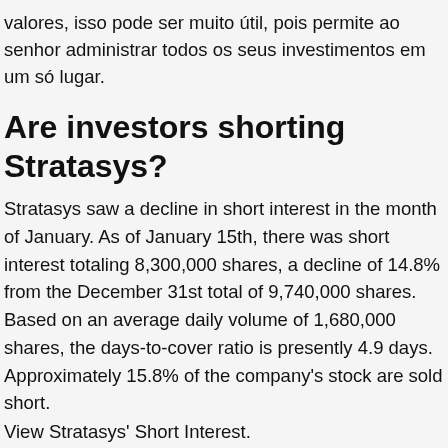valores, isso pode ser muito útil, pois permite ao senhor administrar todos os seus investimentos em um só lugar.
Are investors shorting Stratasys?
Stratasys saw a decline in short interest in the month of January. As of January 15th, there was short interest totaling 8,300,000 shares, a decline of 14.8% from the December 31st total of 9,740,000 shares. Based on an average daily volume of 1,680,000 shares, the days-to-cover ratio is presently 4.9 days. Approximately 15.8% of the company's stock are sold short.
View Stratasys' Short Interest.
[Figure (screenshot): Portuguese language selector button with Portuguese flag emoji]